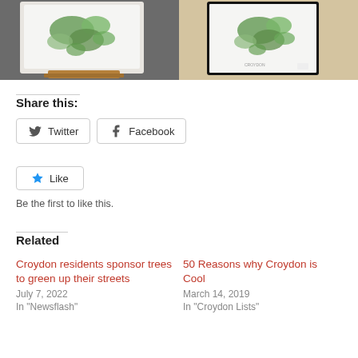[Figure (photo): Left photo: A framed map print of Croydon with green illustrated parks, held on a dark marble surface with a wooden stand.]
[Figure (photo): Right photo: A framed map print of Croydon with green illustrated parks, leaning against a light wood surface.]
Share this:
Twitter  Facebook
Like  Be the first to like this.
Related
Croydon residents sponsor trees to green up their streets
July 7, 2022
In "Newsflash"
50 Reasons why Croydon is Cool
March 14, 2019
In "Croydon Lists"